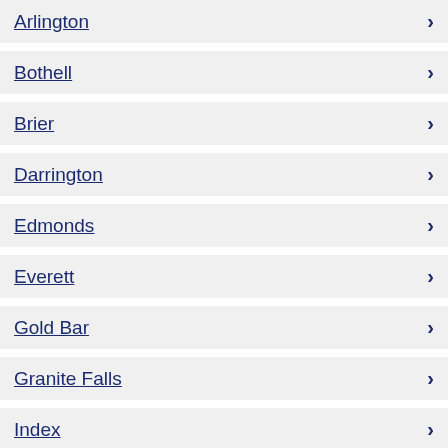Arlington
Bothell
Brier
Darrington
Edmonds
Everett
Gold Bar
Granite Falls
Index
Lake Stevens